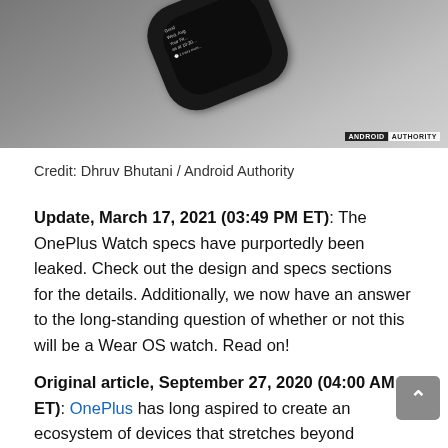[Figure (photo): Close-up photo of a OnePlus Watch (black smartwatch) on a gray fabric surface, with 'ANDROID AUTHORITY' watermark in the bottom right corner]
Credit: Dhruv Bhutani / Android Authority
Update, March 17, 2021 (03:49 PM ET): The OnePlus Watch specs have purportedly been leaked. Check out the design and specs sections for the details. Additionally, we now have an answer to the long-standing question of whether or not this will be a Wear OS watch. Read on!
Original article, September 27, 2020 (04:00 AM ET): OnePlus has long aspired to create an ecosystem of devices that stretches beyond smartphones. The company's efforts towards